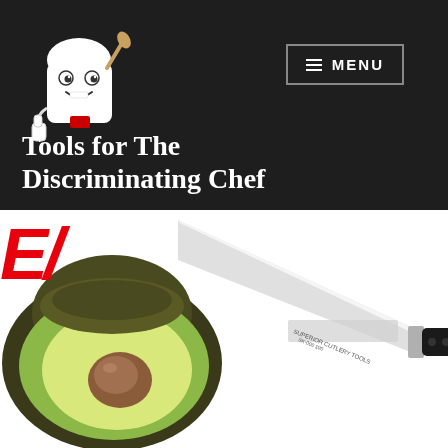[Figure (logo): Cartoon chef mascot holding a spoon, wearing a white chef hat with a small red square, giving a thumbs up]
[Figure (other): Menu button with three horizontal lines and the text MENU, outlined in a gray rectangle, white text on dark background]
Tools for The Discriminating Chef
[Figure (photo): Large red italic letters 'EI' partially visible at top left, halved avocado with pit visible on the left, a chef's knife with silver blade and black handle on the right, all on white background]